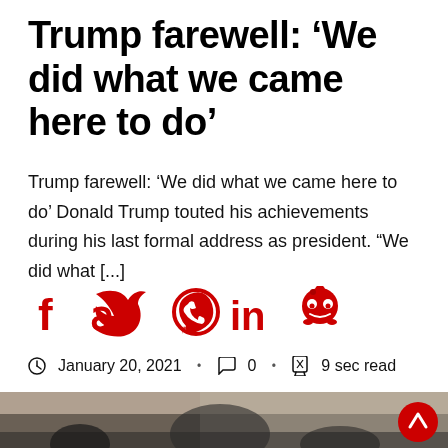Trump farewell: ‘We did what we came here to do’
Trump farewell: ‘We did what we came here to do’ Donald Trump touted his achievements during his last formal address as president. “We did what [...]
[Figure (infographic): Row of five social media share icons in red: Facebook (f), Twitter (bird), WhatsApp (speech bubble with phone), LinkedIn (in), Reddit (alien face)]
January 20, 2021 • 0 comments • 9 sec read
[Figure (photo): Partial photo of people in military uniforms and a man in the center at what appears to be a public event with drapes in the background. A red scroll-to-top button is visible in the bottom right corner.]